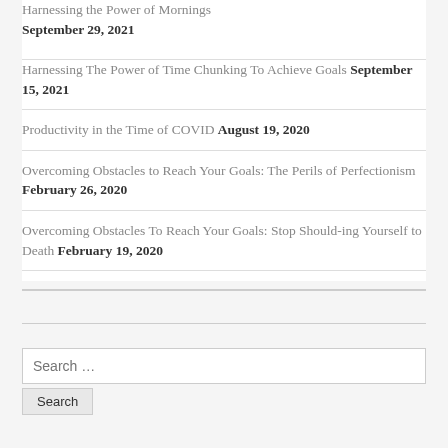Harnessing the Power of Mornings September 29, 2021
Harnessing The Power of Time Chunking To Achieve Goals September 15, 2021
Productivity in the Time of COVID August 19, 2020
Overcoming Obstacles to Reach Your Goals: The Perils of Perfectionism February 26, 2020
Overcoming Obstacles To Reach Your Goals: Stop Should-ing Yourself to Death February 19, 2020
Search ...